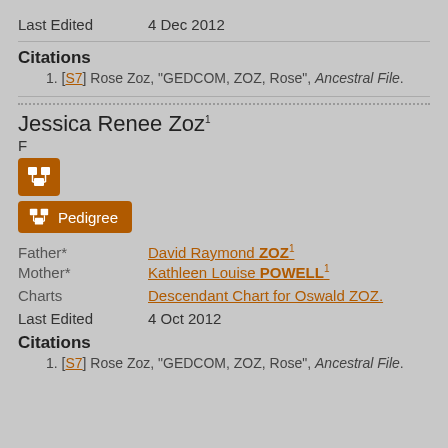Last Edited    4 Dec 2012
Citations
1. [S7] Rose Zoz, "GEDCOM, ZOZ, Rose", Ancestral File.
Jessica Renee Zoz
F
[Figure (other): Pedigree icon button and Pedigree labeled button]
Father*    David Raymond ZOZ
Mother*    Kathleen Louise POWELL
Charts    Descendant Chart for Oswald ZOZ.
Last Edited    4 Oct 2012
Citations
1. [S7] Rose Zoz, "GEDCOM, ZOZ, Rose", Ancestral File.